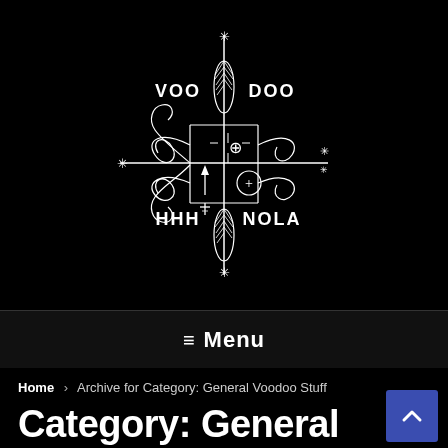[Figure (logo): Voodoo HHH NOLA logo: a veve/voodoo symbol drawn in white on black background, with decorative swirls, a central cross with directional arrows, a feather/leaf motif, star/asterisk symbols, and the text 'VOO DOO' at top and 'HHH NOLA' at bottom]
≡ Menu
Home > Archive for Category: General Voodoo Stuff
Category: General